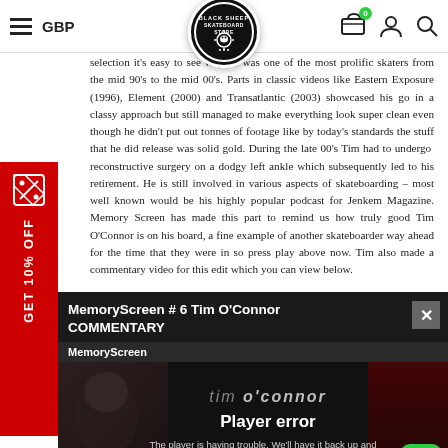GBP | Black Sheep Skateboard Store | Cart | Account | Search
selection it's easy to see why he was one of the most prolific skaters from the mid 90's to the mid 00's. Parts in classic videos like Eastern Exposure (1996), Element (2000) and Transatlantic (2003) showcased his go in a classy approach but still managed to make everything look super clean even though he didn't put out tonnes of footage like by today's standards the stuff that he did release was solid gold. During the late 00's Tim had to undergo reconstructive surgery on a dodgy left ankle which subsequently led to his retirement. He is still involved in various aspects of skateboarding – most well known would be his highly popular podcast for Jenkem Magazine. Memory Screen has made this part to remind us how truly good Tim O'Connor is on his board, a fine example of another skateboarder way ahead for the time that they were in so press play above now. Tim also made a commentary video for this edit which you can view below.
[Figure (screenshot): Red promotional sidebar banner with price tag icon, reading GET 10% OFF in white vertical text on red background]
[Figure (screenshot): Video player panel titled 'MemoryScreen # 6 Tim O'Connor COMMENTARY' showing a player error message: 'The player is having trouble. We'll have it back up and running as soon as possible.' with a face silhouette and 'tim o'connor' text overlay. A green email button appears in the bottom right corner.]